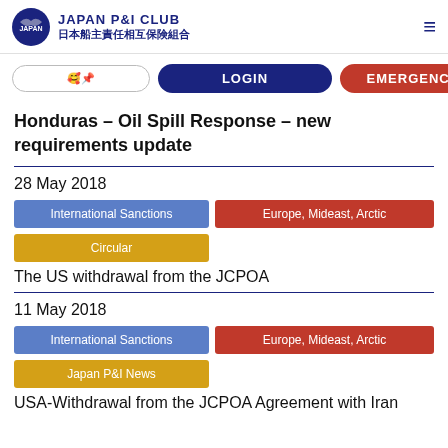JAPAN P&I CLUB 日本船主責任相互保険組合
Honduras – Oil Spill Response – new requirements update
28 May 2018
International Sanctions
Europe, Mideast, Arctic
Circular
The US withdrawal from the JCPOA
11 May 2018
International Sanctions
Europe, Mideast, Arctic
Japan P&I News
USA-Withdrawal from the JCPOA Agreement with Iran